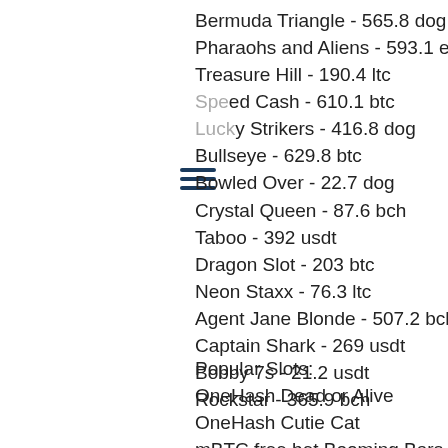Bermuda Triangle - 565.8 dog
Pharaohs and Aliens - 593.1 eth
Treasure Hill - 190.4 ltc
Speed Cash - 610.1 btc
Lucky Strikers - 416.8 dog
Bullseye - 629.8 btc
Bowled Over - 22.7 dog
Crystal Queen - 87.6 bch
Taboo - 392 usdt
Dragon Slot - 203 btc
Neon Staxx - 76.3 ltc
Agent Jane Blonde - 507.2 bch
Captain Shark - 269 usdt
Bobby 7s - 21.2 usdt
Rockstar - 365.9 bch
Popular Slots:
OneHash Dead or Alive
OneHash Cutie Cat
mBTC free bet Booming Bars